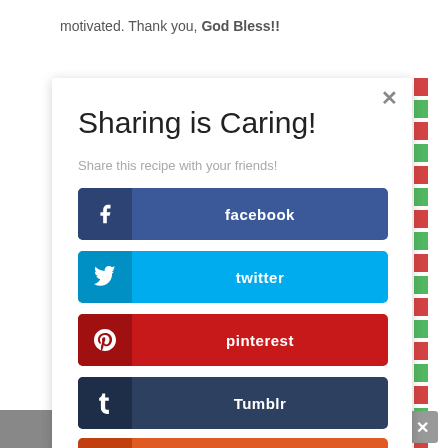motivated. Thank you, God Bless!!
Sharing is Caring!
Share this recipe with your friends!
facebook
twitter
pinterest
Tumblr
reddit
Evernote